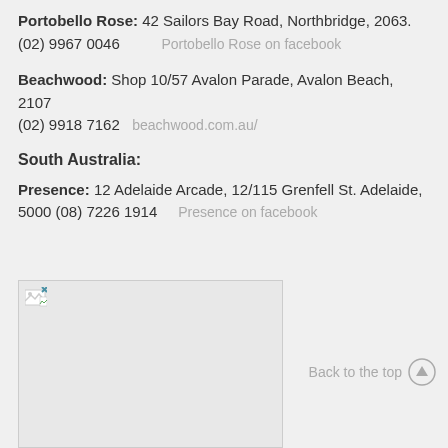Portobello Rose: 42 Sailors Bay Road, Northbridge, 2063. (02) 9967 0046   Portobello Rose on facebook
Beachwood: Shop 10/57 Avalon Parade, Avalon Beach, 2107  (02) 9918 7162  beachwood.com.au/
South Australia:
Presence: 12 Adelaide Arcade, 12/115 Grenfell St. Adelaide, 5000 (08) 7226 1914   Presence on facebook
[Figure (photo): Placeholder image with broken image icon, white/light gray background]
Back to the top